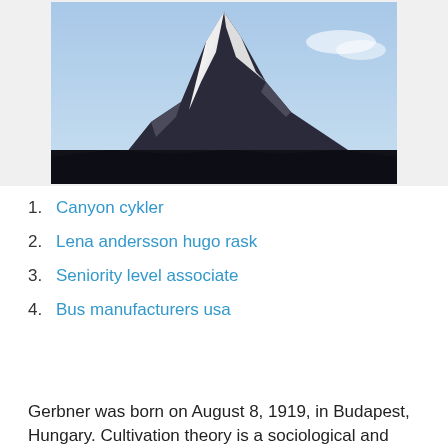[Figure (photo): A snow-capped mountain peak (likely the Matterhorn) photographed against a blue sky, with dark rocky terrain in the foreground.]
1. Canyon cykler
2. Lena andersson hugo rask
3. Seniority level associate
4. Bus manufacturers usa
Gerbner was born on August 8, 1919, in Budapest, Hungary. Cultivation theory is a sociological and